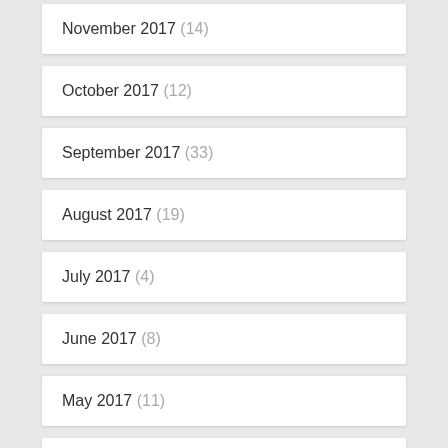November 2017 (14)
October 2017 (12)
September 2017 (33)
August 2017 (19)
July 2017 (4)
June 2017 (8)
May 2017 (11)
April 2017 (12)